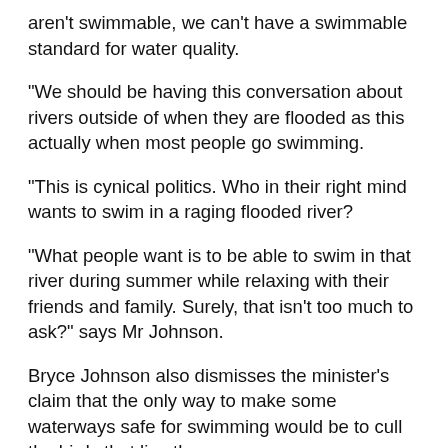aren't swimmable, we can't have a swimmable standard for water quality.
“We should be having this conversation about rivers outside of when they are flooded as this actually when most people go swimming.
“This is cynical politics. Who in their right mind wants to swim in a raging flooded river?
“What people want is to be able to swim in that river during summer while relaxing with their friends and family. Surely, that isn’t too much to ask?” says Mr Johnson.
Bryce Johnson also dismisses the minister’s claim that the only way to make some waterways safe for swimming would be to cull the birds that live there.
“This is the flimsiest and environmentally unsound of excuses and does not stand up to even cursory scrutiny. New Zealand is unique because it evolved as a land with only birds and now the minister wants them killed to preserve water quality?